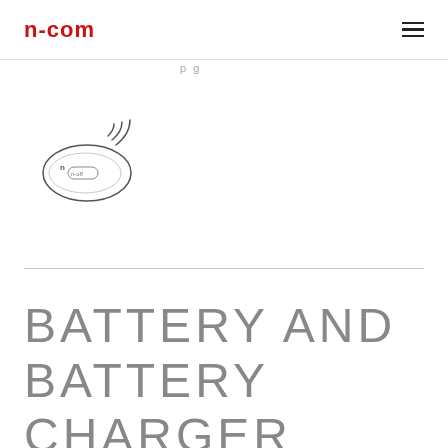n-com
[Figure (illustration): Small wireless communication device illustration showing a pebble-shaped unit with antenna signal waves and n-com branding with on/off button]
BATTERY AND BATTERY CHARGER